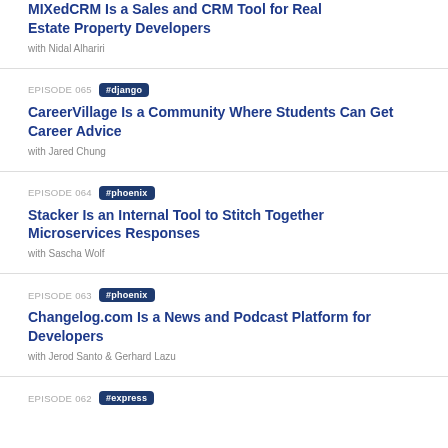MIXedCRM Is a Sales and CRM Tool for Real Estate Property Developers
with Nidal Alhariri
EPISODE 065 #django
CareerVillage Is a Community Where Students Can Get Career Advice
with Jared Chung
EPISODE 064 #phoenix
Stacker Is an Internal Tool to Stitch Together Microservices Responses
with Sascha Wolf
EPISODE 063 #phoenix
Changelog.com Is a News and Podcast Platform for Developers
with Jerod Santo & Gerhard Lazu
EPISODE 062 #express